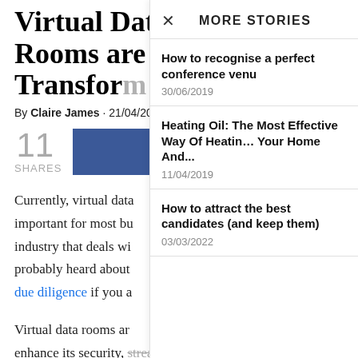Virtual Data Rooms are Transform…
By Claire James · 21/04/20…
11 SHARES
Currently, virtual data… important for most bu… industry that deals wi… probably heard about… due diligence if you a…
Virtual data rooms ar… enhance its security, streamline its operations, or facilitate due diligence processes. The market for virtual data rooms continues
MORE STORIES
How to recognise a perfect conference venu…
30/06/2019
Heating Oil: The Most Effective Way Of Heatin… Your Home And...
11/04/2019
How to attract the best candidates (and keep them)
03/03/2022